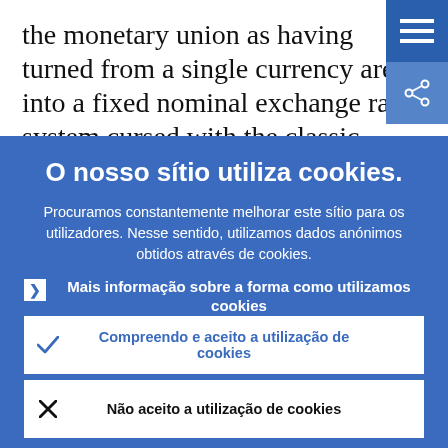the monetary union as having turned from a single currency area into a fixed nominal exchange rate system cursed with the classic “peso problem”. Investors required
O nosso sítio utiliza cookies.
Procuramos constantemente melhorar este sítio para os utilizadores. Nesse sentido, utilizamos dados anónimos obtidos através de cookies.
Mais informação sobre a forma como utilizamos cookies
Compreendo e aceito a utilização de cookies
Não aceito a utilização de cookies